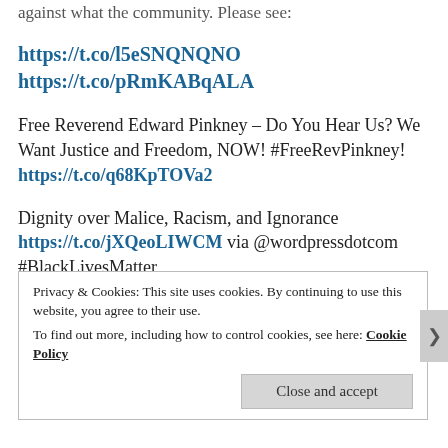against what the community. Please see:
https://t.co/l5eSNQNQNO
https://t.co/pRmKABqALA
Free Reverend Edward Pinkney – Do You Hear Us? We Want Justice and Freedom, NOW! #FreeRevPinkney! https://t.co/q68KpTOVa2
Dignity over Malice, Racism, and Ignorance https://t.co/jXQeoLIWCM via @wordpressdotcom #BlackLivesMatter
CRISIS AT MARQUETTE BRANCH PRISON!
Privacy & Cookies: This site uses cookies. By continuing to use this website, you agree to their use.
To find out more, including how to control cookies, see here: Cookie Policy
Close and accept